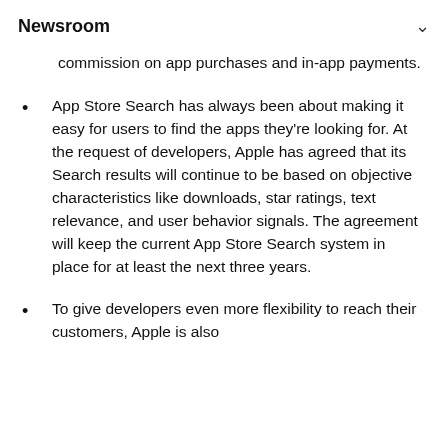Newsroom
the reduced commission, while larger developers pay the App Store's standard commission on app purchases and in-app payments.
App Store Search has always been about making it easy for users to find the apps they're looking for. At the request of developers, Apple has agreed that its Search results will continue to be based on objective characteristics like downloads, star ratings, text relevance, and user behavior signals. The agreement will keep the current App Store Search system in place for at least the next three years.
To give developers even more flexibility to reach their customers, Apple is also